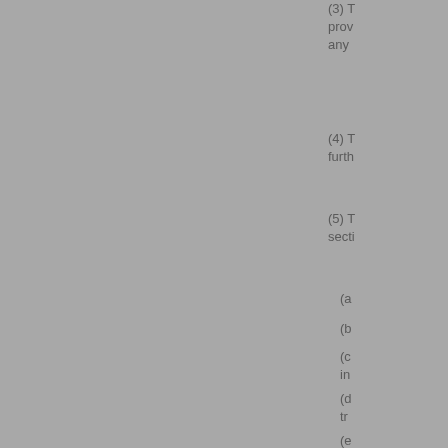(3) prov any
(4) T furth
(5) T secti
(a
(b
(c in
(d tr
(e
(f 5
(g